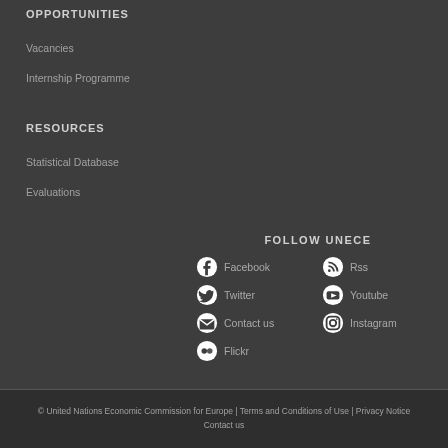OPPORTUNITIES
Vacancies
Internship Programme
RESOURCES
Statistical Database
Evaluations
FOLLOW UNECE
Facebook
Rss
Twitter
Youtube
Contact us
Instagram
Flickr
© United Nations Economic Commission for Europe | Terms and Conditions of Use | Privacy Notice
Contact us